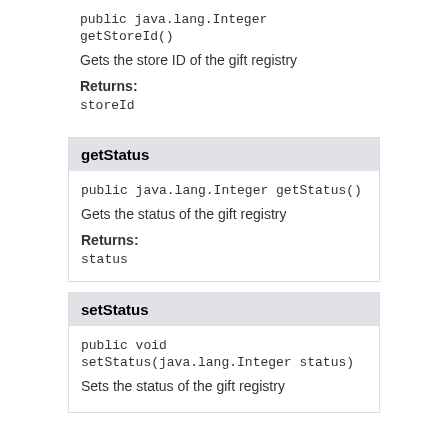public java.lang.Integer getStoreId()
Gets the store ID of the gift registry
Returns:
storeId
getStatus
public java.lang.Integer getStatus()
Gets the status of the gift registry
Returns:
status
setStatus
public void setStatus(java.lang.Integer status)
Sets the status of the gift registry